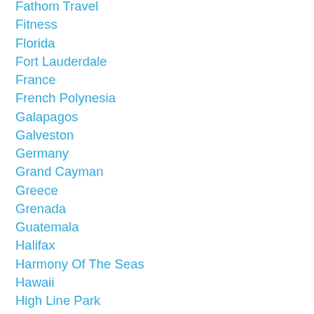Fathom Travel
Fitness
Florida
Fort Lauderdale
France
French Polynesia
Galapagos
Galveston
Germany
Grand Cayman
Greece
Grenada
Guatemala
Halifax
Harmony Of The Seas
Hawaii
High Line Park
Hiking
Holland America
Hong Kong
Houston